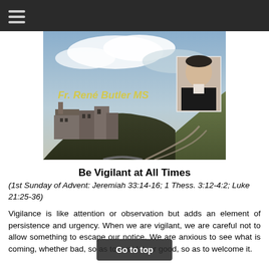☰ (menu icon)
[Figure (photo): Landscape photo of a large stone building complex on a hillside with winding paths, cloudy sky. Overlaid text reads 'Fr. René Butler MS' in gold/yellow bold italic font. A portrait photo of an Asian elderly man in clerical collar is inset in the upper right corner.]
Be Vigilant at All Times
(1st Sunday of Advent: Jeremiah 33:14-16; 1 Thess. 3:12-4:2; Luke 21:25-36)
Vigilance is like attention or observation but adds an element of persistence and urgency. When we are vigilant, we are careful not to allow something to escape our notice. We are anxious to see what is coming, whether bad, so as to avoid it, or good, so as to welcome it.
Beginning twenty verses before today's text, Jesus predicts